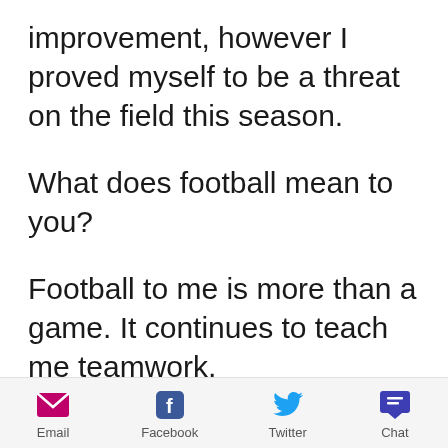improvement, however I proved myself to be a threat on the field this season.
What does football mean to you?
Football to me is more than a game. It continues to teach me teamwork,
Email  Facebook  Twitter  Chat